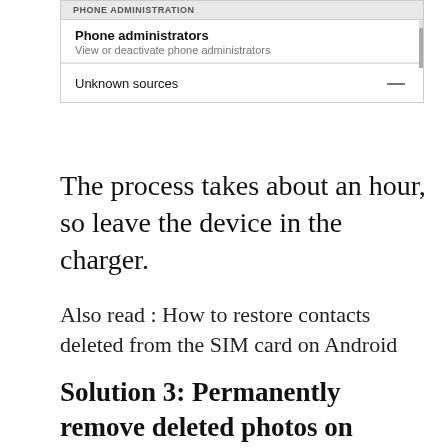[Figure (screenshot): Android phone settings screenshot showing PHONE ADMINISTRATOR section with 'Phone administrators' menu item (subtitle: View or deactivate phone administrators) and 'Unknown sources' toggle row with a dash/toggle indicator]
The process takes about an hour, so leave the device in the charger.
Also read : How to restore contacts deleted from the SIM card on Android
Solution 3: Permanently remove deleted photos on Android using Android Data Eraser [100% unrecoverable]